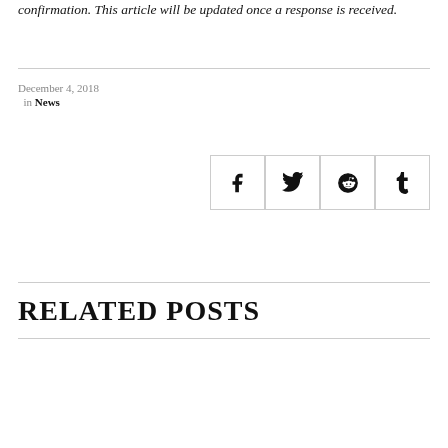confirmation. This article will be updated once a response is received.
December 4, 2018
in News
[Figure (other): Social share buttons: Facebook, Twitter, Reddit, Tumblr]
RELATED POSTS